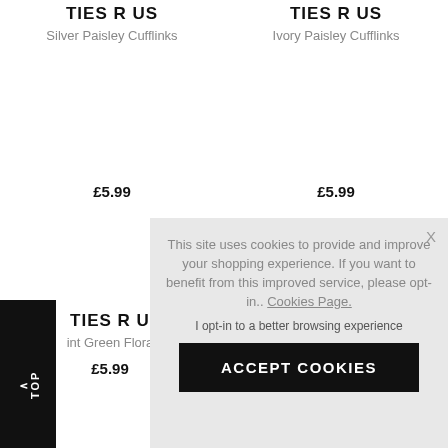TIES R US
Silver Paisley Cufflinks
£5.99
TIES R US
Ivory Paisley Cufflinks
£5.99
TIES R U...
...int Green Flora...
£5.99
< TOP
This site uses cookies to provide and improve your shopping experience. If you want to benefit from this improved service, please opt-in.. Cookies Page.
I opt-in to a better browsing experience
ACCEPT COOKIES